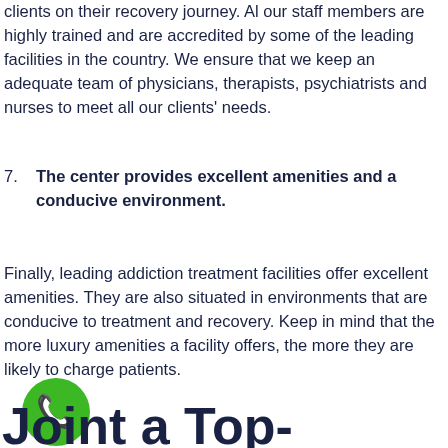clients on their recovery journey. Al our staff members are highly trained and are accredited by some of the leading facilities in the country. We ensure that we keep an adequate team of physicians, therapists, psychiatrists and nurses to meet all our clients' needs.
7. The center provides excellent amenities and a conducive environment.
Finally, leading addiction treatment facilities offer excellent amenities. They are also situated in environments that are conducive to treatment and recovery. Keep in mind that the more luxury amenities a facility offers, the more they are likely to charge patients.
[Figure (illustration): Green circular phone/call icon]
Joint a Top-